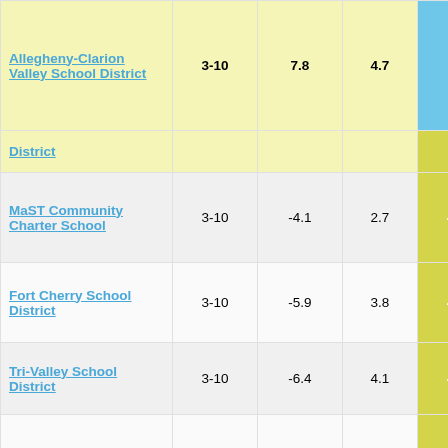| School/District | Grades | Col3 | Col4 | Col5 | Col6 |
| --- | --- | --- | --- | --- | --- |
| Allegheny-Clarion Valley School District | 3-10 | 7.8 | 4.7 | 1.65 | 5 |
| District |  |  |  |  |  |
| MaST Community Charter School | 3-10 | -4.1 | 2.7 | -1.52 |  |
| Fort Cherry School District | 3-10 | -5.9 | 3.8 | -1.56 |  |
| Tri-Valley School District | 3-10 | -6.4 | 4.1 | -1.57 |  |
| Preparatory Charter School Of Mathematics, Science, Tech, And Careers | 9-10 | -4.0 | 2.5 | -1.59 |  |
| Carbon Career & Technical | 9-11 | -5.7 | 3.6 | -1.59 |  |